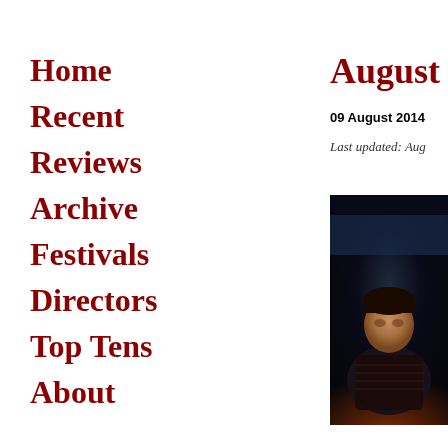Home
Recent
Reviews
Archive
Festivals
Directors
Top Tens
About
August 20
09 August 2014
Last updated: Aug
[Figure (photo): Dark moody photo of a young person in a patterned sweater, dimly lit scene]